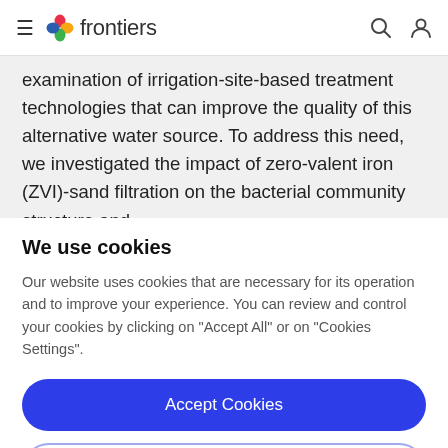frontiers
examination of irrigation-site-based treatment technologies that can improve the quality of this alternative water source. To address this need, we investigated the impact of zero-valent iron (ZVI)-sand filtration on the bacterial community structure and
We use cookies
Our website uses cookies that are necessary for its operation and to improve your experience. You can review and control your cookies by clicking on "Accept All" or on "Cookies Settings".
Accept Cookies
Cookies Settings